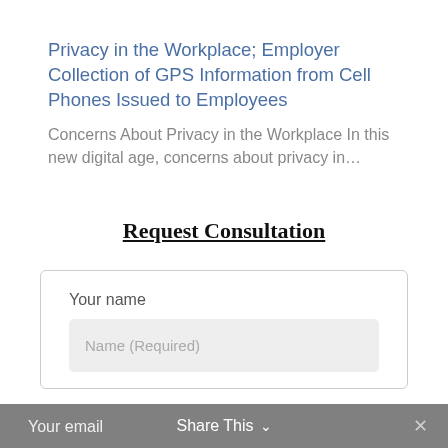Privacy in the Workplace; Employer Collection of GPS Information from Cell Phones Issued to Employees
Concerns About Privacy in the Workplace In this new digital age, concerns about privacy in...
Request Consultation
Your name
Name (Required)
Your email    Share This ∨    ✕